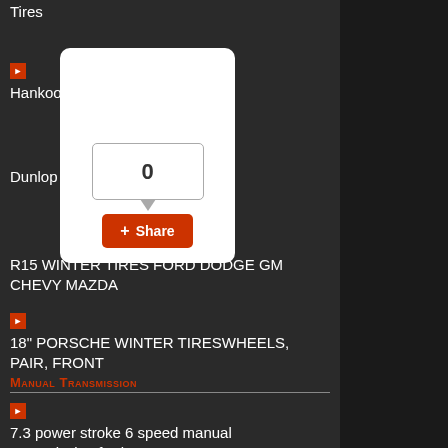Tires
Hankook W409 Winter i*Pike
Dunlop SP Winter Sport M3
R15 WINTER TIRES FORD DODGE GM CHEVY MAZDA
18" PORSCHE WINTER TIRESWHEELS, PAIR, FRONT
Manual Transmission
7.3 power stroke 6 speed manual transmission ford trans
E46 2001 Bmw 330ci Instrument Cluster